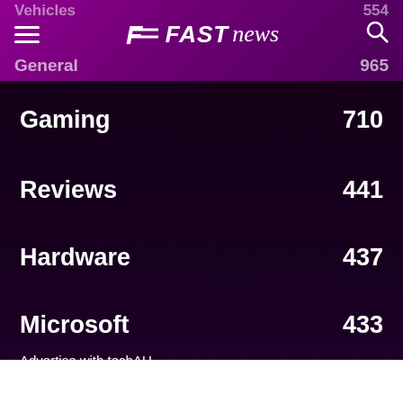FAST news
Vehicles 554
General 965
Gaming 710
Reviews 441
Hardware 437
Microsoft 433
Advertise with techAU